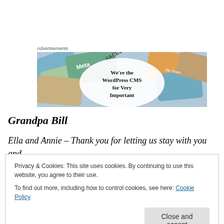[Figure (illustration): Advertisement banner showing social media brand cards (Meta, Facebook, etc.) with text 'We're the WordPress CMS for Very Important']
Grandpa Bill
Ella and Annie – Thank you for letting us stay with you and for a wonderful time
Privacy & Cookies: This site uses cookies. By continuing to use this website, you agree to their use.
To find out more, including how to control cookies, see here: Cookie Policy
Close and accept
Which, in and of itself, was enough to make me gasp – a